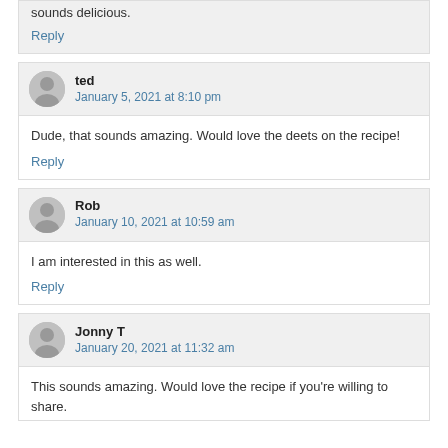sounds delicious.
Reply
ted
January 5, 2021 at 8:10 pm
Dude, that sounds amazing. Would love the deets on the recipe!
Reply
Rob
January 10, 2021 at 10:59 am
I am interested in this as well.
Reply
Jonny T
January 20, 2021 at 11:32 am
This sounds amazing. Would love the recipe if you're willing to share.